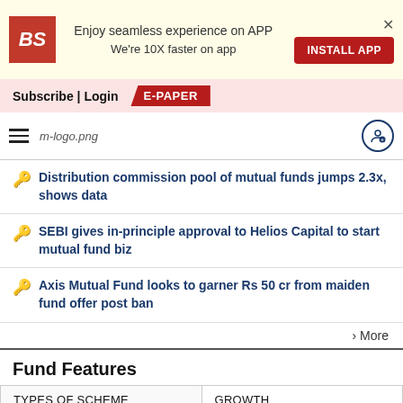[Figure (screenshot): App install banner with BS logo, text 'Enjoy seamless experience on APP We're 10X faster on app', INSTALL APP button, and X close button]
Subscribe | Login
E-PAPER
[Figure (logo): Navigation bar with hamburger menu, m-logo.png, and user icon]
Distribution commission pool of mutual funds jumps 2.3x, shows data
SEBI gives in-principle approval to Helios Capital to start mutual fund biz
Axis Mutual Fund looks to garner Rs 50 cr from maiden fund offer post ban
> More
Fund Features
| TYPES OF SCHEME | GROWTH |
| --- | --- |
| OPTIONS | INTERVAL INCOME FUNDS |